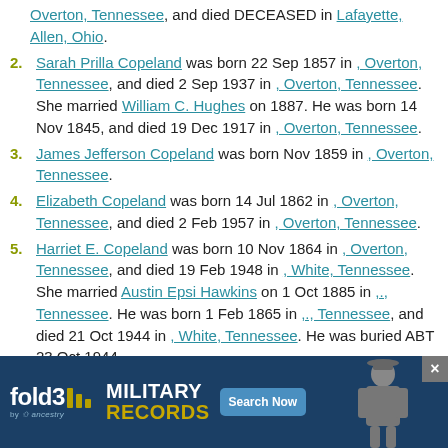Overton, Tennessee, and died DECEASED in Lafayette, Allen, Ohio.
2. Sarah Prilla Copeland was born 22 Sep 1857 in , Overton, Tennessee, and died 2 Sep 1937 in , Overton, Tennessee. She married William C. Hughes on 1887. He was born 14 Nov 1845, and died 19 Dec 1917 in , Overton, Tennessee.
3. James Jefferson Copeland was born Nov 1859 in , Overton, Tennessee.
4. Elizabeth Copeland was born 14 Jul 1862 in , Overton, Tennessee, and died 2 Feb 1957 in , Overton, Tennessee.
5. Harriet E. Copeland was born 10 Nov 1864 in , Overton, Tennessee, and died 19 Feb 1948 in , White, Tennessee. She married Austin Epsi Hawkins on 1 Oct 1885 in ,., Tennessee. He was born 1 Feb 1865 in ,., Tennessee, and died 21 Oct 1944 in , White, Tennessee. He was buried ABT 23 Oct 1944.
6. Donan E. Copeland was born 1866/1867 in , Overton, Tennessee.
7. Ma... [partially visible] Overton... on
[Figure (other): fold3 by Ancestry advertisement banner for Military Records with Search Now button and soldier photo]